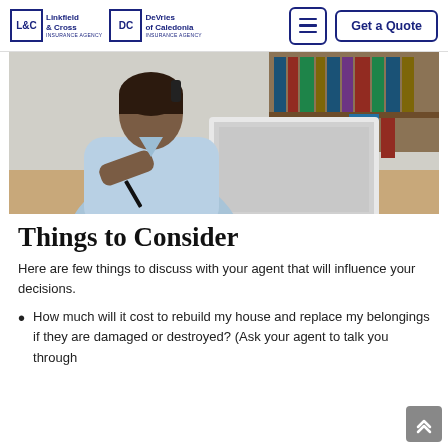[Figure (logo): Linkfield & Cross Insurance Agency and DeVries of Caledonia Insurance Agency logos side by side]
[Figure (photo): A person in a light blue shirt sitting at a desk, talking on a phone, holding a pen, with an open laptop and books in the background]
Things to Consider
Here are few things to discuss with your agent that will influence your decisions.
How much will it cost to rebuild my house and replace my belongings if they are damaged or destroyed? (Ask your agent to talk you through